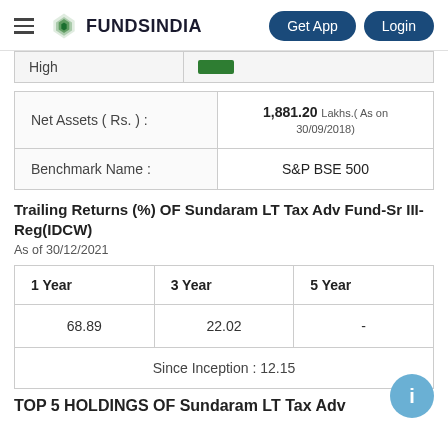FUNDSINDIA | Get App | Login
|  |  |
| --- | --- |
| High |  |
| Net Assets ( Rs. ) : | 1,881.20 Lakhs.( As on 30/09/2018) |
| Benchmark Name : | S&P BSE 500 |
Trailing Returns (%) OF Sundaram LT Tax Adv Fund-Sr III-Reg(IDCW)
As of 30/12/2021
| 1 Year | 3 Year | 5 Year |
| --- | --- | --- |
| 68.89 | 22.02 | - |
| Since Inception : 12.15 |  |  |
TOP 5 HOLDINGS OF Sundaram LT Tax Adv